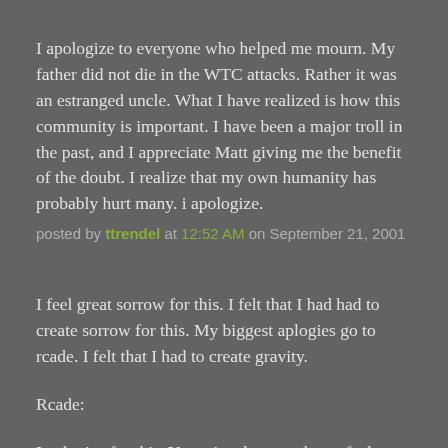I apologize to everyone who helped me mourn. My father did not die in the WTC attacks. Rather it was an estranged uncle. What I have realized is how this community is important. I have been a major troll in the past, and I appreciate Matt giving me the benefit of the doubt. I realize that my own humanity has probably hurt many. i apologize.
posted by ttrendel at 12:52 AM on September 21, 2001
I feel great sorrow for this. I felt that I had had to create sorrow for this. My biggest aplogies go to rcade. I felt that I had to create gravity.
Rcade:
I aplogize for this. Your site alone made me feel welcome. I ap0ologize that I betrayed you. Feel free to hate me. Please